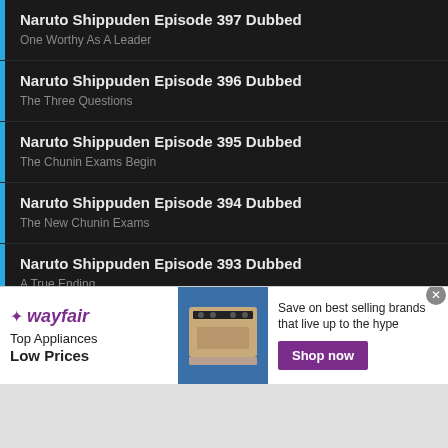Naruto Shippuden Episode 397 Dubbed
One Worthy As A Leader
Naruto Shippuden Episode 396 Dubbed
The Three Questions
Naruto Shippuden Episode 395 Dubbed
The Chunin Exams Begin
Naruto Shippuden Episode 394 Dubbed
The New Chunin Exams
Naruto Shippuden Episode 393 Dubbed
A True Ending
Naruto Shippuden Episode 392 Dubbed
The Hidden Heart
[Figure (screenshot): Wayfair advertisement banner showing Top Appliances Low Prices with a stove image and Shop now button]